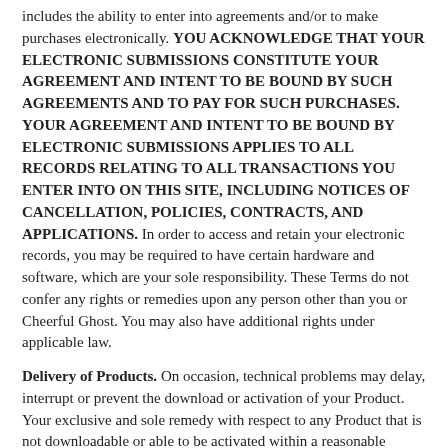includes the ability to enter into agreements and/or to make purchases electronically. YOU ACKNOWLEDGE THAT YOUR ELECTRONIC SUBMISSIONS CONSTITUTE YOUR AGREEMENT AND INTENT TO BE BOUND BY SUCH AGREEMENTS AND TO PAY FOR SUCH PURCHASES. YOUR AGREEMENT AND INTENT TO BE BOUND BY ELECTRONIC SUBMISSIONS APPLIES TO ALL RECORDS RELATING TO ALL TRANSACTIONS YOU ENTER INTO ON THIS SITE, INCLUDING NOTICES OF CANCELLATION, POLICIES, CONTRACTS, AND APPLICATIONS. In order to access and retain your electronic records, you may be required to have certain hardware and software, which are your sole responsibility. These Terms do not confer any rights or remedies upon any person other than you or Cheerful Ghost. You may also have additional rights under applicable law.
Delivery of Products. On occasion, technical problems may delay, interrupt or prevent the download or activation of your Product. Your exclusive and sole remedy with respect to any Product that is not downloadable or able to be activated within a reasonable period will be either replacement of such Product, store credit or refund of the purchase price paid for such Product, as determined by Cheerful Ghost in its sole discretion. Cheerful Ghost shall have